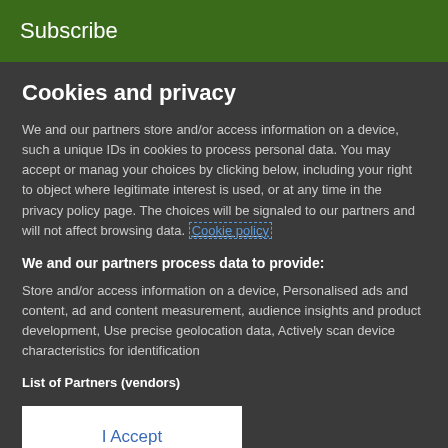Subscribe
Cookies and privacy
We and our partners store and/or access information on a device, such as unique IDs in cookies to process personal data. You may accept or manage your choices by clicking below, including your right to object where legitimate interest is used, or at any time in the privacy policy page. These choices will be signaled to our partners and will not affect browsing data. Cookie policy
We and our partners process data to provide:
Store and/or access information on a device, Personalised ads and content, ad and content measurement, audience insights and product development, Use precise geolocation data, Actively scan device characteristics for identification
List of Partners (vendors)
I Accept